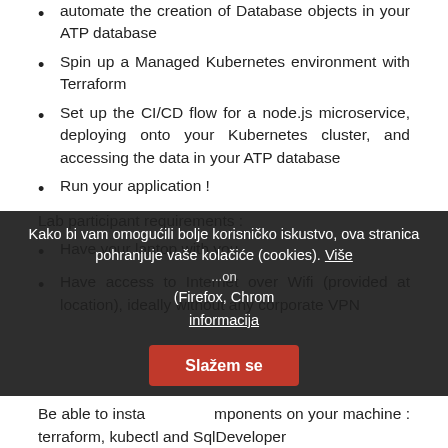automate the creation of Database objects in your ATP database
Spin up a Managed Kubernetes environment with Terraform
Set up the CI/CD flow for a node.js microservice, deploying onto your Kubernetes cluster, and accessing the data in your ATP database
Run your application !
Lab participant requirements :
Have your laptop with you
Have access to Internet over Wifi (provided at location), ideally without any corporate VPN
Kako bi vam omogućili bolje korisničko iskustvo, ova stranica pohranjuje vaše kolačiće (cookies). Više informacija
Be able to install components on your machine : terraform, kubectl and SqlDeveloper